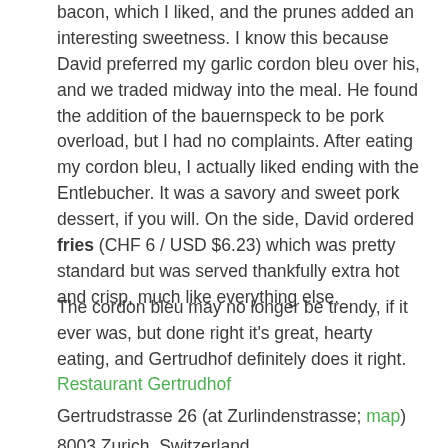bacon, which I liked, and the prunes added an interesting sweetness. I know this because David preferred my garlic cordon bleu over his, and we traded midway into the meal. He found the addition of the bauernspeck to be pork overload, but I had no complaints. After eating my cordon bleu, I actually liked ending with the Entlebucher. It was a savory and sweet pork dessert, if you will. On the side, David ordered fries (CHF 6 / USD $6.23) which was pretty standard but was served thankfully extra hot and crisp, much like everything else.
The cordon bleu may no longer be trendy, if it ever was, but done right it's great, hearty eating, and Gertrudhof definitely does it right.
Restaurant Gertrudhof
Gertrudstrasse 26 (at Zurlindenstrasse; map)
8003 Zurich, Switzerland
+41 44 451 31 31